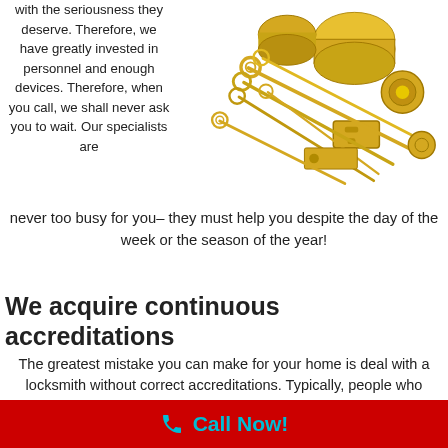with the seriousness they deserve. Therefore, we have greatly invested in personnel and enough devices. Therefore, when you call, we shall never ask you to wait. Our specialists are never too busy for you– they must help you despite the day of the week or the season of the year!
[Figure (photo): A collection of gold-colored locksmith tools and hardware: lock cylinders, keys, strike plates, and various lock components arranged together.]
We acquire continuous accreditations
The greatest mistake you can make for your home is deal with a locksmith without correct accreditations. Typically, people who permeate the locksmith industry without the needed documents are cons whose main objective is to syphon cash from unsuspecting clients and escape after offering poor or no
Call Now!